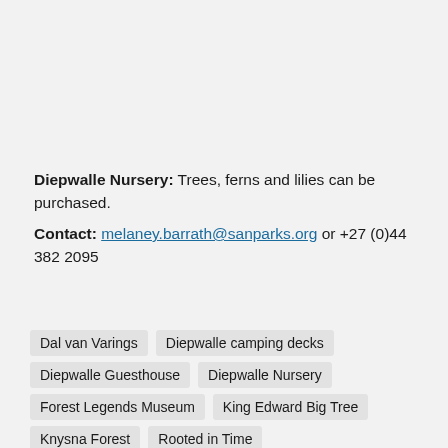Diepwalle Nursery: Trees, ferns and lilies can be purchased.
Contact: melaney.barrath@sanparks.org or +27 (0)44 382 2095
Dal van Varings
Diepwalle camping decks
Diepwalle Guesthouse
Diepwalle Nursery
Forest Legends Museum
King Edward Big Tree
Knysna Forest
Rooted in Time
San Ambroso Chapel Museum
Spitskop viewpoint